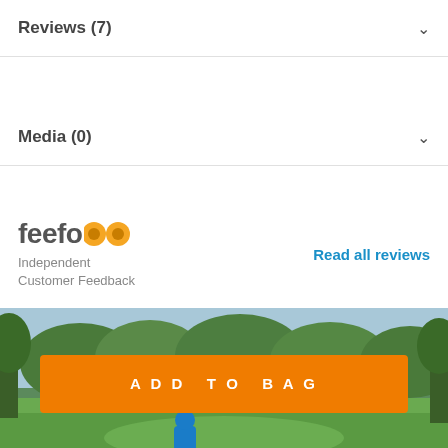Reviews (7)
Media (0)
[Figure (logo): Feefo logo with orange eye circles and text 'Independent Customer Feedback']
Read all reviews
[Figure (photo): Golf course scene with trees and blue sky; blue-clad golfer visible at bottom. Orange 'ADD TO BAG' button overlaid.]